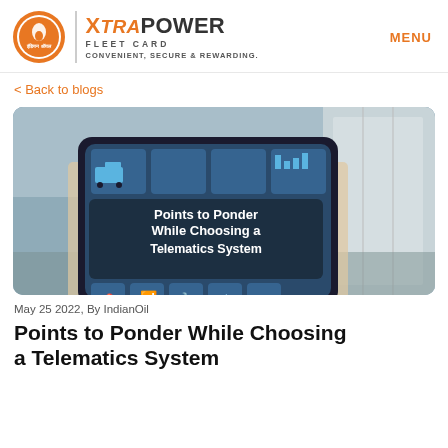[Figure (logo): IndianOil XtraPower Fleet Card logo with Indian Oil circular emblem and XtraPower Fleet Card text. Tagline: CONVENIENT, SECURE & REWARDING.]
MENU
< Back to blogs
[Figure (photo): A person holding a tablet device displaying telematics/fleet management icons and the text 'Points to Ponder While Choosing a Telematics System'. Background shows a large truck/trailer.]
May 25 2022, By IndianOil
Points to Ponder While Choosing a Telematics System